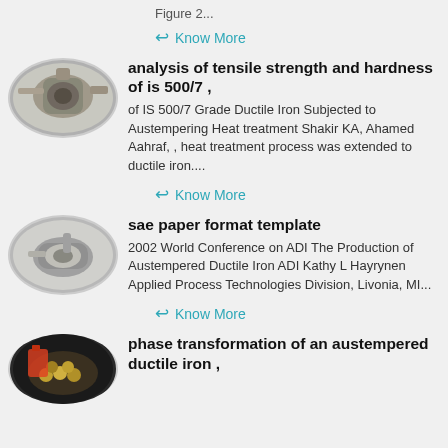Figure 2...
← Know More
[Figure (photo): Oval-shaped photo of industrial machinery/equipment (mill or grinder)]
analysis of tensile strength and hardness of is 500/7 ,
of IS 500/7 Grade Ductile Iron Subjected to Austempering Heat treatment Shakir KA, Ahamed Aahraf, , heat treatment process was extended to ductile iron....
← Know More
[Figure (photo): Oval-shaped photo of metallic mechanical part or tool]
sae paper format template
2002 World Conference on ADI The Production of Austempered Ductile Iron ADI Kathy L Hayrynen Applied Process Technologies Division, Livonia, MI...
← Know More
[Figure (photo): Oval-shaped photo of small spherical objects/balls in a container]
phase transformation of an austempered ductile iron ,